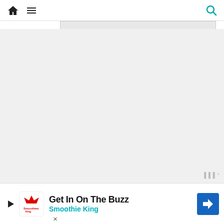Home | Menu | Search
[Figure (other): Large gray placeholder image area, possibly an embedded video or advertisement. A thin bar with lighter gray color is visible at the top of this region.]
"(Like) seeing the interplanetary adventures we never quite s[aw], a series [that] sit[s]
[Figure (infographic): Bottom advertisement banner: Smoothie King 'Get In On The Buzz' ad with play button, Smoothie King logo, headline text, blue navigation/arrow icon, and an X close button.]